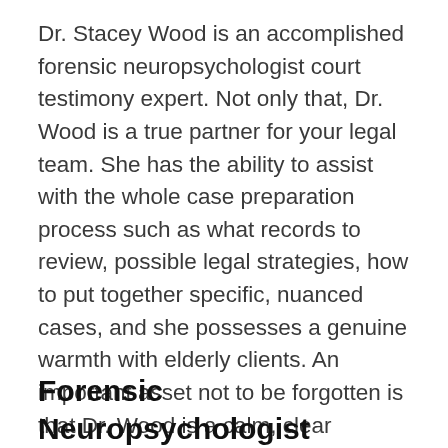Dr. Stacey Wood is an accomplished forensic neuropsychologist court testimony expert. Not only that, Dr. Wood is a true partner for your legal team. She has the ability to assist with the whole case preparation process such as what records to review, possible legal strategies, how to put together specific, nuanced cases, and she possesses a genuine warmth with elderly clients. An important asset not to be forgotten is that Dr. Wood is a calm, clear communicator in court and has experience providing court testimony as an expert in over 600 cases in California.
Forensic Neuropsychologist Expert Witness